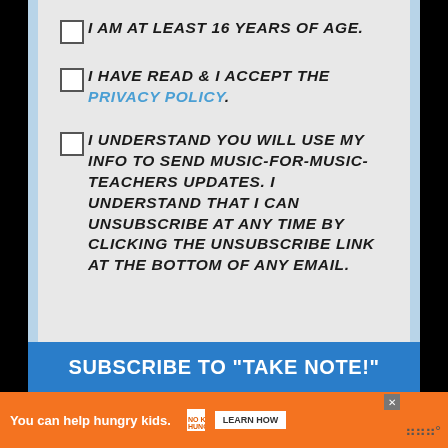I AM AT LEAST 16 YEARS OF AGE.
I HAVE READ & I ACCEPT THE PRIVACY POLICY.
I UNDERSTAND YOU WILL USE MY INFO TO SEND MUSIC-FOR-MUSIC-TEACHERS UPDATES. I UNDERSTAND THAT I CAN UNSUBSCRIBE AT ANY TIME BY CLICKING THE UNSUBSCRIBE LINK AT THE BOTTOM OF ANY EMAIL.
SUBSCRIBE TO "TAKE NOTE!"
You can help hungry kids. NO KID HUNGRY LEARN HOW